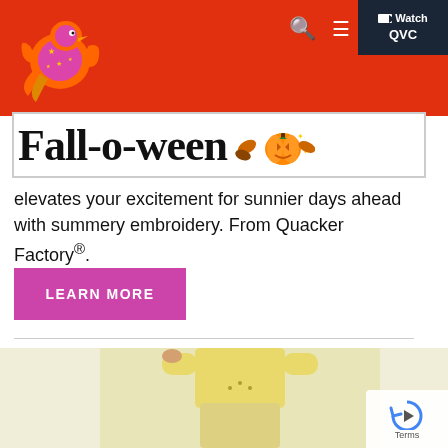QVC header with logo, search, menu, and Watch QVC button
[Figure (logo): QVC Quacker Factory logo - orange and pink bird/duck with stars on red background]
[Figure (illustration): Fall-o-ween banner with decorative pumpkin and autumn leaves]
elevates your excitement for sunnier days ahead with summery embroidery. From Quacker Factory®.
LEARN MORE
[Figure (photo): Person wearing yellow outfit - bottom portion of QVC product photo]
[Figure (other): reCAPTCHA badge with Terms text]